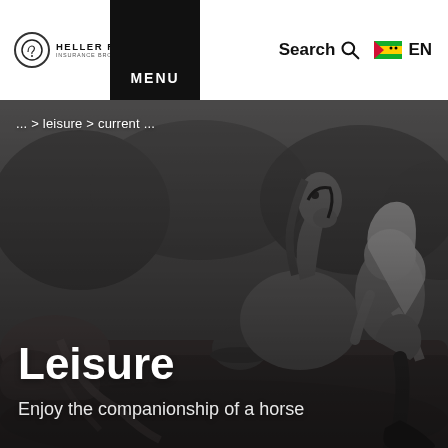HELLER RASPO | MENU | Search | EN
[Figure (photo): Black and white photo of a woman with long blonde hair sitting on a wooden fence next to a horse, with trees and a field in the background. A saddle is visible on the left. The woman is wearing riding boots and resting with her knee up.]
... > leisure > current ...
Leisure
Enjoy the companionship of a horse